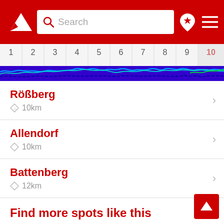Navigation bar with search
[Figure (other): Wind forecast chart strip showing wind lines over 10 time periods with colored wave patterns in blue, cyan, green on dark blue/purple background]
Rößberg – 10km
Allendorf – 10km
Battenberg – 12km
Find more spots like this
Look at our wind map to find more spots among our 160,000
Find spot or weather station